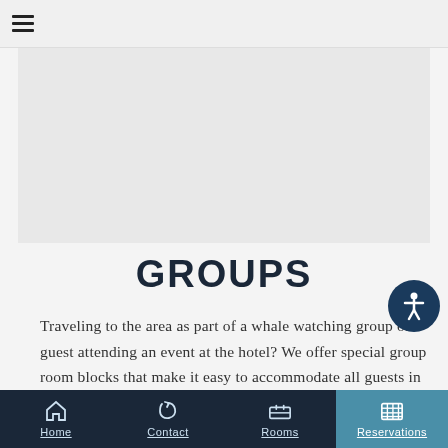≡ (hamburger menu)
[Figure (photo): Gray image placeholder area representing a hotel or landscape photo]
GROUPS
Traveling to the area as part of a whale watching group or a guest attending an event at the hotel? We offer special group room blocks that make it easy to accommodate all guests in your
Home  Contact  Rooms  Reservations